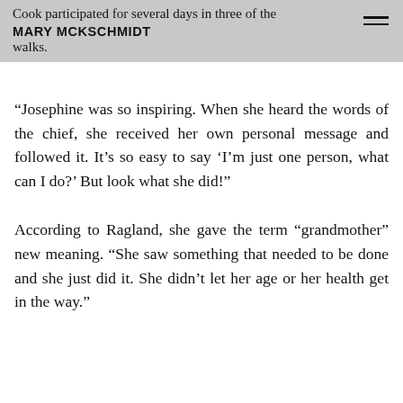Cook participated for several days in three of the MARY MCKSCHMIDT walks.
“Josephine was so inspiring. When she heard the words of the chief, she received her own personal message and followed it. It’s so easy to say ‘I’m just one person, what can I do?’ But look what she did!”
According to Ragland, she gave the term “grandmother” new meaning. “She saw something that needed to be done and she just did it. She didn’t let her age or her health get in the way.”